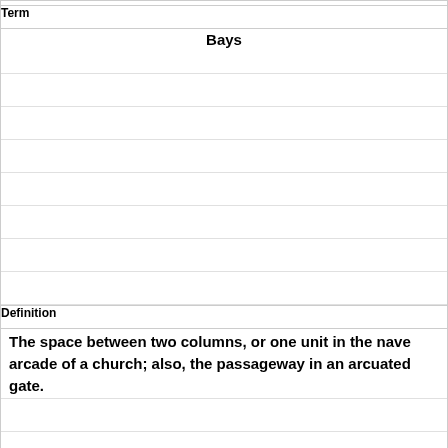| Term | Definition |
| --- | --- |
| Bays | The space between two columns, or one unit in the nave arcade of a church; also, the passageway in an arcuated gate. |